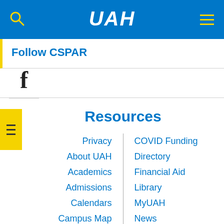UAH navigation bar with search icon, UAH logo, and menu icon
Follow CSPAR
[Figure (logo): Facebook logo icon (f)]
Resources
Privacy
About UAH
Academics
Admissions
Calendars
Campus Map
Campus Policy (partial)
COVID Funding
Directory
Financial Aid
Library
MyUAH
News
Student Life (partial)